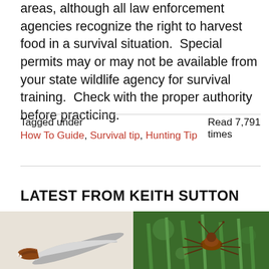areas, although all law enforcement agencies recognize the right to harvest food in a survival situation.  Special permits may or may not be available from your state wildlife agency for survival training.  Check with the proper authority before practicing.
Tagged under
How To Guide, Survival tip, Hunting Tip

Read 7,791 times
LATEST FROM KEITH SUTTON
[Figure (photo): Photo of a folding knife with decorative handle]
[Figure (photo): Close-up photo of an insect on green grass blades]